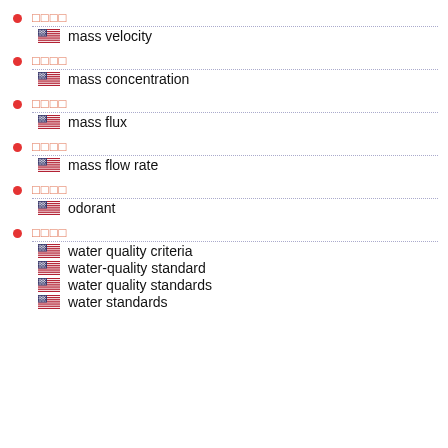□□□□ — mass velocity
□□□□ — mass concentration
□□□□ — mass flux
□□□□ — mass flow rate
□□□□ — odorant
□□□□ — water quality criteria; water-quality standard; water quality standards; water standards